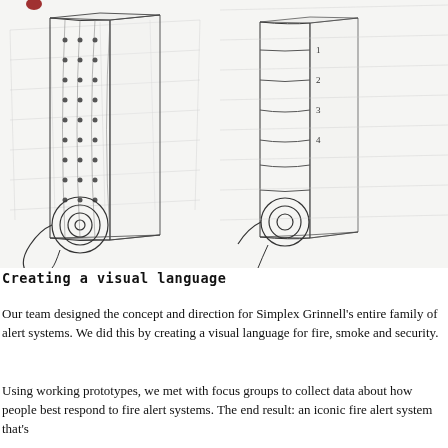[Figure (illustration): Two pencil sketch drawings of fire alert system device concepts: left sketch shows a rectangular panel with curved front face featuring a grid of dots/circles and concentric circle detail at bottom; right sketch shows a similar device with horizontal curved lines/ridges and concentric circles at the bottom, both in isometric/perspective view.]
Creating a visual language
Our team designed the concept and direction for Simplex Grinnell's entire family of alert systems. We did this by creating a visual language for fire, smoke and security.
Using working prototypes, we met with focus groups to collect data about how people best respond to fire alert systems. The end result: an iconic fire alert system that's